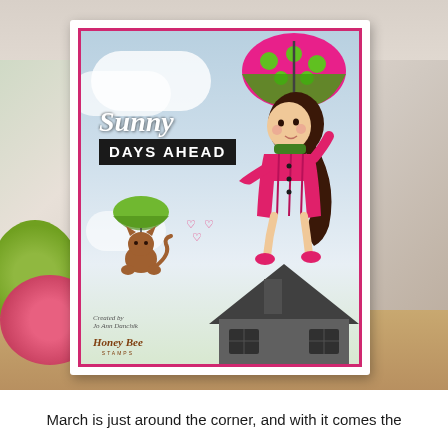[Figure (photo): A handmade greeting card by Jo Ann Danchik for Honey Bee Stamps, featuring a girl in a pink coat flying through a cloudy sky holding a pink-and-green polka dot umbrella, a cat floating with a green umbrella below, hearts coming from a chimney, and a rooftop silhouette. The card reads 'Sunny DAYS AHEAD' in script and block lettering. Pink flowers and green foliage are visible in the foreground. The card has a hot pink border and white frame.]
March is just around the corner, and with it comes the